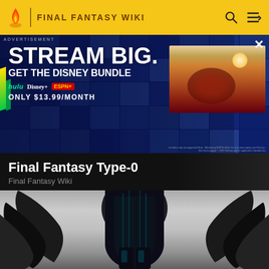FINAL FANTASY WIKI
[Figure (screenshot): Disney Bundle advertisement banner: 'STREAM BIG. GET THE DISNEY BUNDLE – hulu, Disney+, ESPN+ – ONLY $13.99/MONTH' overlaid on a grid of streaming thumbnails, with a video thumbnail of a person in desert scene on the right. ADVERTISEMENT label top left, X close button top right.]
Final Fantasy Type-0
Final Fantasy Wiki
[Figure (illustration): Lower half of a dark armored fantasy character figure against a grey gradient background, with dark clawed wing-like appendages visible on left and right sides.]